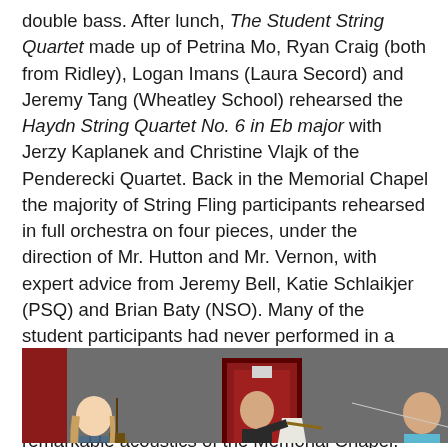double bass. After lunch, The Student String Quartet made up of Petrina Mo, Ryan Craig (both from Ridley), Logan Imans (Laura Secord) and Jeremy Tang (Wheatley School) rehearsed the Haydn String Quartet No. 6 in Eb major with Jerzy Kaplanek and Christine Vlajk of the Penderecki Quartet. Back in the Memorial Chapel the majority of String Fling participants rehearsed in full orchestra on four pieces, under the direction of Mr. Hutton and Mr. Vernon, with expert advice from Jeremy Bell, Katie Schlaikjer (PSQ) and Brian Baty (NSO). Many of the student participants had never performed in a large string orchestra such as this, so the experience was enlightening. The sound of the group was quite loud and resonant in the remarkable acoustics of the Memorial Chapel.
[Figure (photo): Students rehearsing with string instruments (double bass) in a music room with red door and red curtains in the background. Three students are visible: a girl on the left in a plaid shirt, a person in the middle in a dark top, and a person on the right in a light blue shirt.]